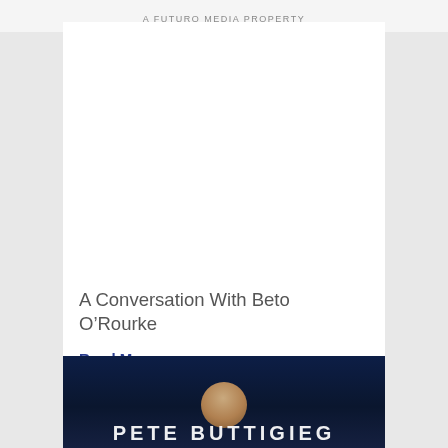A FUTURO MEDIA PROPERTY
[Figure (photo): White blank image area placeholder for article image]
A Conversation With Beto O’Rourke
Read More
[Figure (photo): Photo of Pete Buttigieg with his name displayed in large bold white text at the bottom against a dark blue background]